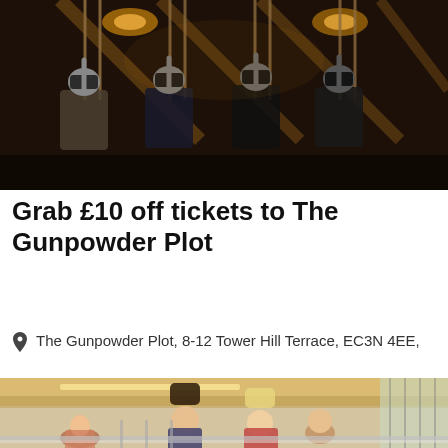[Figure (photo): People wearing VR headsets sitting on swings in a dark wooden barn-like structure with warm overhead lighting, participating in The Gunpowder Plot experience.]
Grab £10 off tickets to The Gunpowder Plot
The Gunpowder Plot, 8-12 Tower Hill Terrace, EC3N 4EE,
[Figure (photo): Group of people standing in a modern indoor space with warm lighting, a wooden ceiling, and large windows, appearing to be at an event or attraction.]